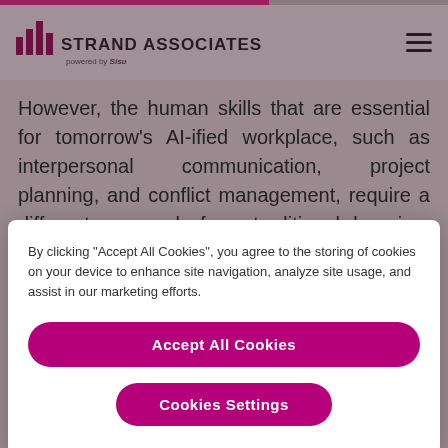STRAND ASSOCIATES powered by Sisu
However, the human skills that are essential for tomorrow's AI-ified workplace, such as interpersonal communication, project planning, and conflict management, require a different approach from traditional learning. Often, these skills don't just require people to learn new facts and techniques; they also call for basic changes in the ways individuals behave on—and off
By clicking “Accept All Cookies”, you agree to the storing of cookies on your device to enhance site navigation, analyze site usage, and assist in our marketing efforts.
Accept All Cookies
Cookies Settings